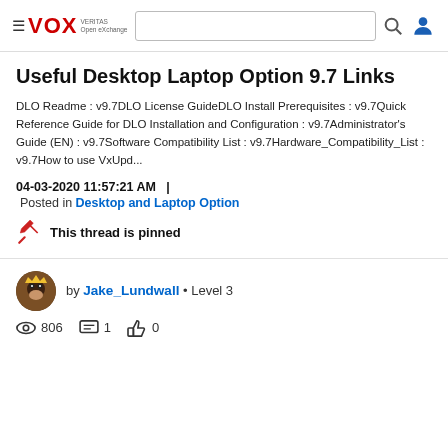VOX | Veritas Open Exchange — navigation header
Useful Desktop Laptop Option 9.7 Links
DLO Readme : v9.7DLO License GuideDLO Install Prerequisites : v9.7Quick Reference Guide for DLO Installation and Configuration : v9.7Administrator's Guide (EN) : v9.7Software Compatibility List : v9.7Hardware_Compatibility_List : v9.7How to use VxUpd...
04-03-2020 11:57:21 AM   |
Posted in Desktop and Laptop Option
This thread is pinned
by Jake_Lundwall • Level 3
806   1   0